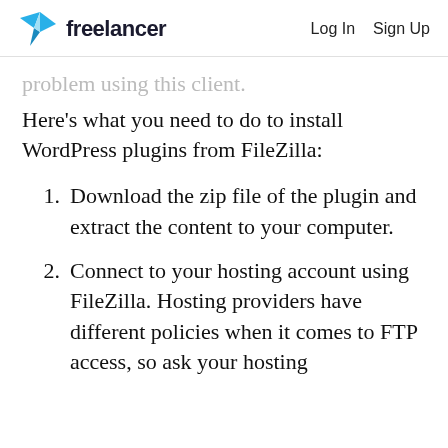freelancer   Log In   Sign Up
problem using this client.
Here's what you need to do to install WordPress plugins from FileZilla:
Download the zip file of the plugin and extract the content to your computer.
Connect to your hosting account using FileZilla. Hosting providers have different policies when it comes to FTP access, so ask your hosting